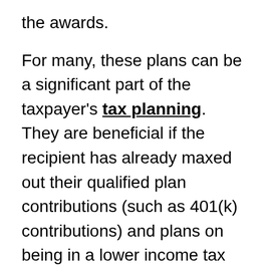the awards.
For many, these plans can be a significant part of the taxpayer's tax planning. They are beneficial if the recipient has already maxed out their qualified plan contributions (such as 401(k) contributions) and plans on being in a lower income tax bracket when they retire. This combination allows a current year tax deduction for the 401(k) contributions and allows the recipient to count the deferred compensation as taxable income in the first year of retirement. The 401(k) income–and tax on the income–will be spread over many